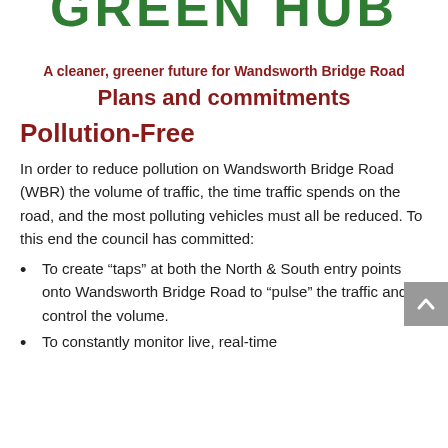[Figure (logo): GREEN HUB logo text in large bold green letters, partially cropped at top]
A cleaner, greener future for Wandsworth Bridge Road
Plans and commitments
Pollution-Free
In order to reduce pollution on Wandsworth Bridge Road (WBR) the volume of traffic, the time traffic spends on the road, and the most polluting vehicles must all be reduced. To this end the council has committed:
To create “taps” at both the North & South entry points onto Wandsworth Bridge Road to “pulse” the traffic and control the volume.
To constantly monitor live, real-time